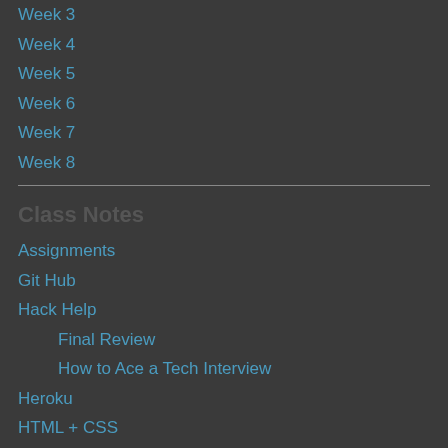Week 3
Week 4
Week 5
Week 6
Week 7
Week 8
Class Notes
Assignments
Git Hub
Hack Help
Final Review
How to Ace a Tech Interview
Heroku
HTML + CSS
Responsiveness
Sass + Foundation
JavaScript